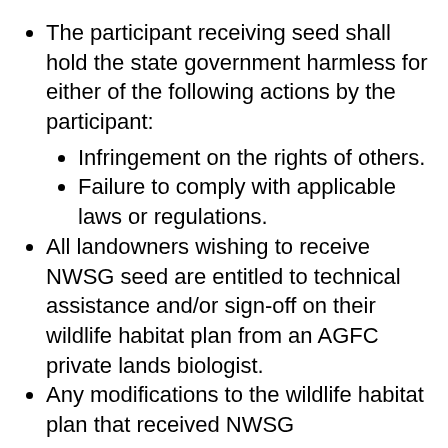The participant receiving seed shall hold the state government harmless for either of the following actions by the participant:
Infringement on the rights of others.
Failure to comply with applicable laws or regulations.
All landowners wishing to receive NWSG seed are entitled to technical assistance and/or sign-off on their wildlife habitat plan from an AGFC private lands biologist.
Any modifications to the wildlife habitat plan that received NWSG